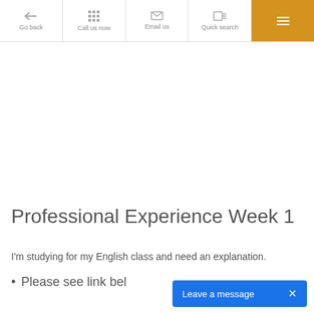Go back | Call us now | Email us | Quick search | Menu
Professional Experience Week 1
I'm studying for my English class and need an explanation.
Please see link bel…
Leave a message